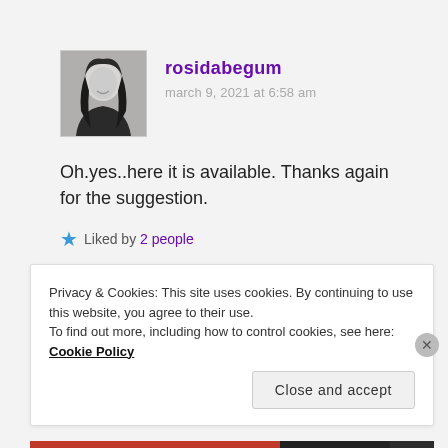[Figure (photo): Black and white avatar photo of user rosidabegum — a woman with long dark hair, smiling.]
rosidabegum
march 9, 2021 at 6:58 am
Oh.yes..here it is available. Thanks again for the suggestion.
★ Liked by 2 people
Privacy & Cookies: This site uses cookies. By continuing to use this website, you agree to their use.
To find out more, including how to control cookies, see here: Cookie Policy
Close and accept